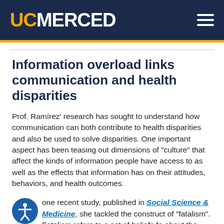UC MERCED
Information overload links communication and health disparities
Prof. Ramírez' research has sought to understand how communication can both contribute to health disparities and also be used to solve disparities. One important aspect has been teasing out dimensions of "culture" that affect the kinds of information people have access to as well as the effects that information has on their attitudes, behaviors, and health outcomes.
one recent study, published in Social Science & Medicine, she tackled the construct of "fatalism". Fatalism refers to a set of beliefs for about the...